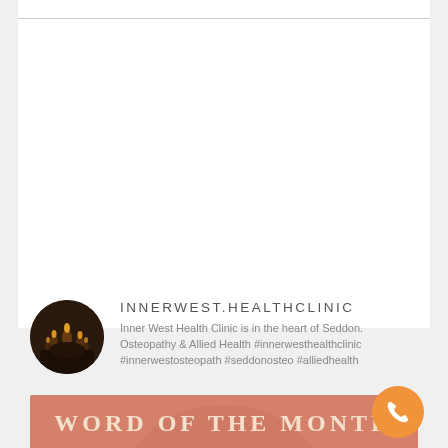[Figure (photo): Circular avatar image showing candles in a dark setting, representing Inner West Health Clinic profile photo]
INNERWEST.HEALTHCLINIC
Inner West Health Clinic is in the heart of Seddon. Osteopathy & Allied Health #innerwesthealthclinic #innerwestosteopath #seddonosteo #alliedhealth
[Figure (illustration): Salmon/terracotta colored image banner with the text 'WORD OF THE MONTH' in large cream/white serif letters, with a partially visible circular illustration below]